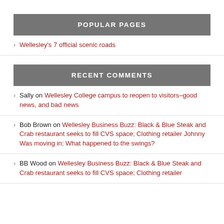POPULAR PAGES
Wellesley's 7 official scenic roads
RECENT COMMENTS
Sally on Wellesley College campus to reopen to visitors–good news, and bad news
Bob Brown on Wellesley Business Buzz: Black & Blue Steak and Crab restaurant seeks to fill CVS space; Clothing retailer Johnny Was moving in; What happened to the swings?
BB Wood on Wellesley Business Buzz: Black & Blue Steak and Crab restaurant seeks to fill CVS space; Clothing retailer